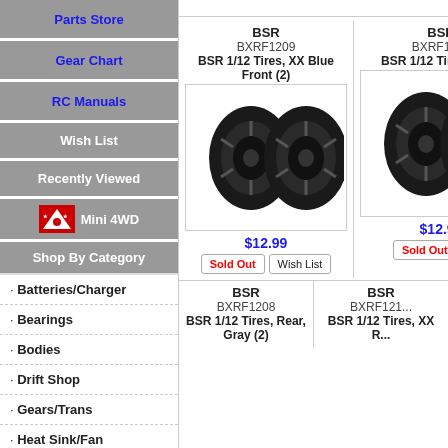Parts Store
Gear Chart
RC Manuals
Wish List
Recently Viewed
Mini 4WD
Shop By Category
Batteries/Charger
Bearings
Bodies
Drift Shop
Gears/Trans
Heat Sink/Fan
Kits
Motors / ESC
Other
BSR
BXRF1209
BSR 1/12 Tires, XX Blue Front (2)
$12.99
Sold Out | Wish List
BSR
BXRF1210 (partial)
BSR 1/12 Tires, Blu...
$12.99
Sold Out | W...
BSR
BXRF1208
BSR 1/12 Tires, Rear, Gray (2)
BSR
BXRF121...
BSR 1/12 Tires, XX R...